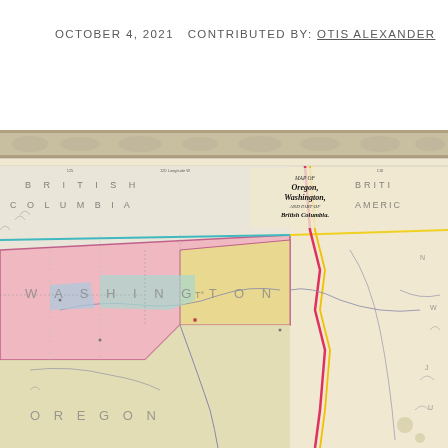OCTOBER 4, 2021  CONTRIBUTED BY: OTIS ALEXANDER
[Figure (map): Historical map of Oregon, Washington, and part of British Columbia. Shows political boundaries of Washington Territory and Oregon, with surrounding regions including British Columbia to the north. Map features colored regions (pink, yellow, teal) for different territories, with rivers, geographic features, and place names. Decorative floral border at top. Title reads 'MAP OF OREGON, WASHINGTON, AND PART OF BRITISH COLUMBIA'.]